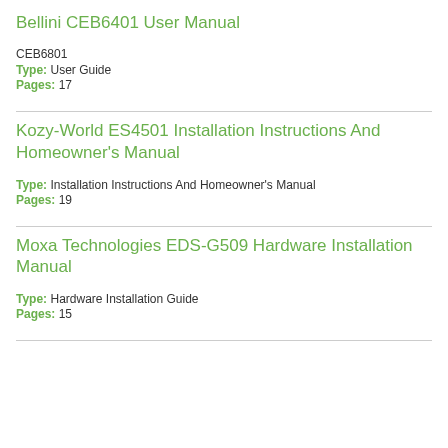Bellini CEB6401 User Manual
CEB6801
Type: User Guide
Pages: 17
Kozy-World ES4501 Installation Instructions And Homeowner's Manual
Type: Installation Instructions And Homeowner's Manual
Pages: 19
Moxa Technologies EDS-G509 Hardware Installation Manual
Type: Hardware Installation Guide
Pages: 15